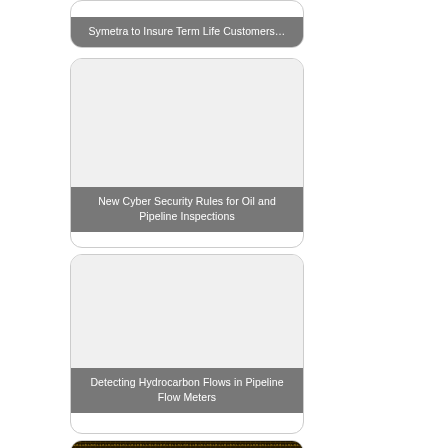[Figure (photo): Card partially visible at top with label 'Symetra to Insure Term Life Customers...']
Symetra to Insure Term Life Customers...
[Figure (photo): Card with blank/light image area and label 'New Cyber Security Rules for Oil and Pipeline Inspections']
New Cyber Security Rules for Oil and Pipeline Inspections
[Figure (photo): Card with blank/light image area and label 'Detecting Hydrocarbon Flows in Pipeline Flow Meters']
Detecting Hydrocarbon Flows in Pipeline Flow Meters
[Figure (photo): Card partially visible at bottom showing dark background with binary/code pattern]